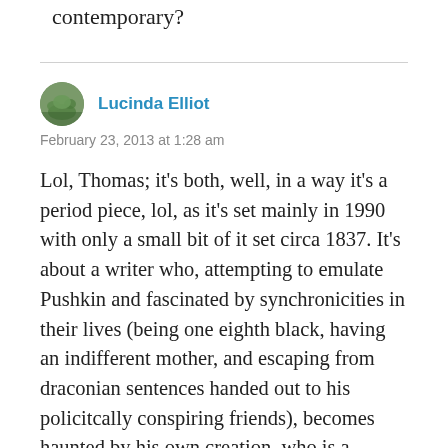contemporary?
Lucinda Elliot
February 23, 2013 at 1:28 am
Lol, Thomas; it's both, well, in a way it's a period piece, lol, as it's set mainly in 1990 with only a small bit of it set circa 1837. It's about a writer who, attempting to emulate Pushkin and fascinated by synchronicities in their lives (being one eighth black, having an indifferent mother, and escaping from draconian sentences handed out to his policitcally conspiring friends), becomes haunted by his own creation, who is a follow on from Pushkin's Eugene Onegin. Who also...